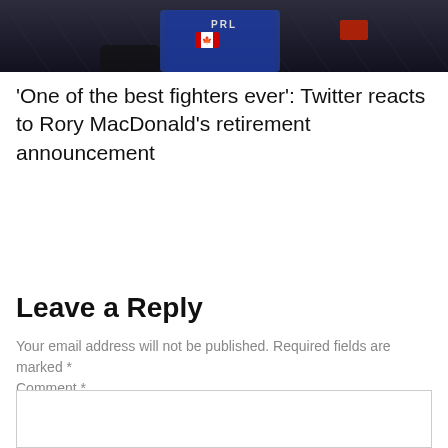[Figure (photo): Partial photo of a fighter wearing a PRL shirt with a Canadian flag patch, dark background]
'One of the best fighters ever': Twitter reacts to Rory MacDonald's retirement announcement
Leave a Reply
Your email address will not be published. Required fields are marked *
Comment *